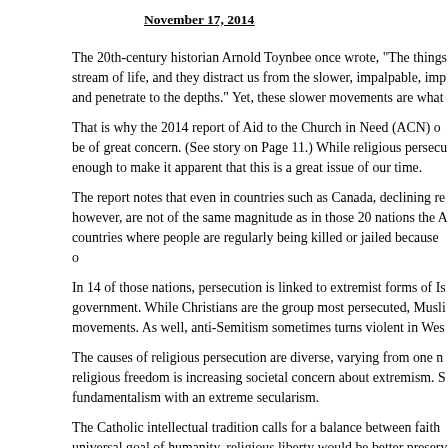November 17, 2014
The 20th-century historian Arnold Toynbee once wrote, "The things stream of life, and they distract us from the slower, impalpable, imp and penetrate to the depths." Yet, these slower movements are what
That is why the 2014 report of Aid to the Church in Need (ACN) o be of great concern. (See story on Page 11.) While religious persecu enough to make it apparent that this is a great issue of our time.
The report notes that even in countries such as Canada, declining re however, are not of the same magnitude as in those 20 nations the A countries where people are regularly being killed or jailed because o
In 14 of those nations, persecution is linked to extremist forms of Is government. While Christians are the group most persecuted, Musli movements. As well, anti-Semitism sometimes turns violent in Wes
The causes of religious persecution are diverse, varying from one n religious freedom is increasing societal concern about extremism. S fundamentalism with an extreme secularism.
The Catholic intellectual tradition calls for a balance between faith universal goal of humanity, religious liberty would be better preserv that reason should be purified of "superstition" (Western secularism beyond reason and can be discerned by faith alone (religious funda
In a famous talk at Regensburg, Germany, in 2006, Pope Benedict X courage to engage the whole breadth of reason."
If in some parts of the world, religious belief is based on a notion o